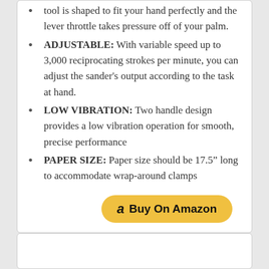tool is shaped to fit your hand perfectly and the lever throttle takes pressure off of your palm.
ADJUSTABLE: With variable speed up to 3,000 reciprocating strokes per minute, you can adjust the sander's output according to the task at hand.
LOW VIBRATION: Two handle design provides a low vibration operation for smooth, precise performance
PAPER SIZE: Paper size should be 17.5" long to accommodate wrap-around clamps